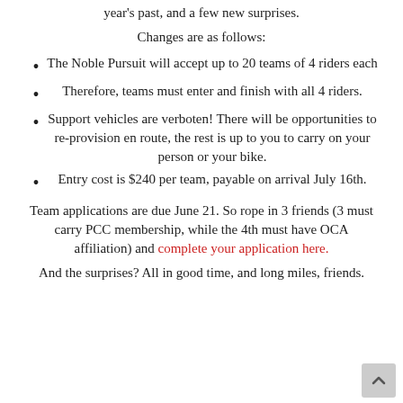year's past, and a few new surprises.
Changes are as follows:
The Noble Pursuit will accept up to 20 teams of 4 riders each
Therefore, teams must enter and finish with all 4 riders.
Support vehicles are verboten! There will be opportunities to re-provision en route, the rest is up to you to carry on your person or your bike.
Entry cost is $240 per team, payable on arrival July 16th.
Team applications are due June 21. So rope in 3 friends (3 must carry PCC membership, while the 4th must have OCA affiliation) and complete your application here.
And the surprises? All in good time, and long miles, friends.